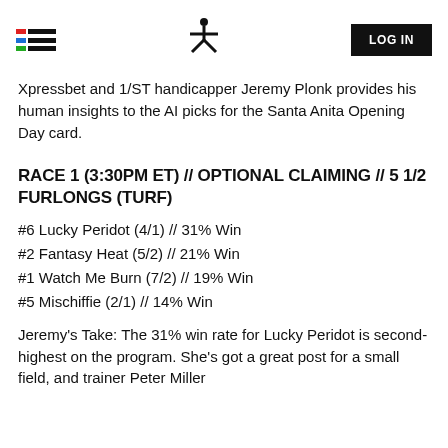Xpressbet logo and navigation header with LOG IN button
Xpressbet and 1/ST handicapper Jeremy Plonk provides his human insights to the AI picks for the Santa Anita Opening Day card.
RACE 1 (3:30PM ET) // OPTIONAL CLAIMING // 5 1/2 FURLONGS (TURF)
#6 Lucky Peridot (4/1) // 31% Win
#2 Fantasy Heat (5/2) // 21% Win
#1 Watch Me Burn (7/2) // 19% Win
#5 Mischiffie (2/1) // 14% Win
Jeremy's Take: The 31% win rate for Lucky Peridot is second-highest on the program. She's got a great post for a small field, and trainer Peter Miller